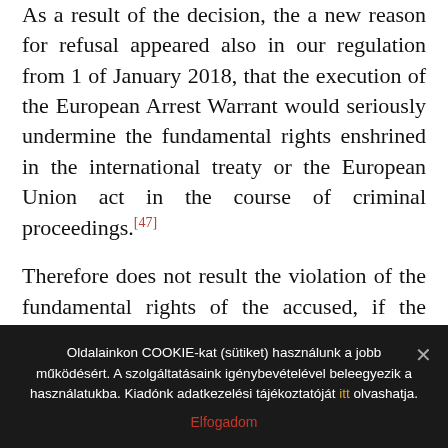As a result of the decision, the a new reason for refusal appeared also in our regulation from 1 of January 2018, that the execution of the European Arrest Warrant would seriously undermine the fundamental rights enshrined in the international treaty or the European Union act in the course of criminal proceedings.[47]
Therefore does not result the violation of the fundamental rights of the accused, if the transfer of the accused allows for the prosecution by a Member State in which his or her right to use the mother tongue or the right to a defense is not ensured.
So in the cases when the injury of fundamental human
Oldalainkon COOKIE-kat (sütiket) használunk a jobb működésért. A szolgáltatásaink igénybevételével beleegyezik a használatukba. Kiadónk adatkezelési tájékoztatóját itt olvashatja.
Elfogadom